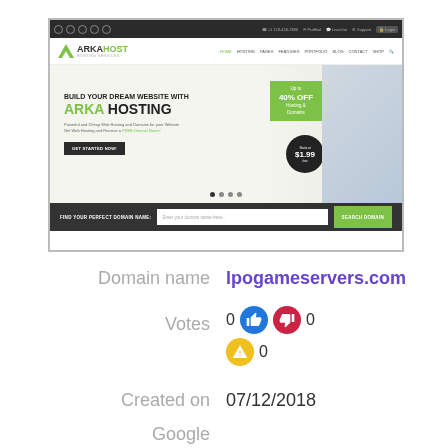[Figure (screenshot): Screenshot of ArkaHost web hosting website homepage showing navigation bar, hero section with 'Build Your Dream Website With ARKA HOSTING' text, promo badge showing 40% OFF, domain search bar at bottom]
Domain name   lpogameservers.com
Votes   0 👍 👎 0   ⚠ 0
Created on   07/12/2018
Google